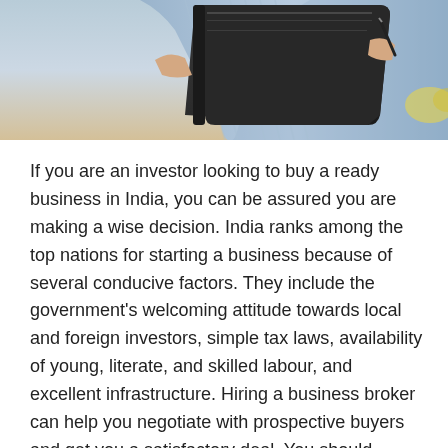[Figure (photo): A person in a light blue shirt holding an open black folder/notebook, photographed from the chest up against a warm neutral background.]
If you are an investor looking to buy a ready business in India, you can be assured you are making a wise decision. India ranks among the top nations for starting a business because of several conducive factors. They include the government's welcoming attitude towards local and foreign investors, simple tax laws, availability of young, literate, and skilled labour, and excellent infrastructure. Hiring a business broker can help you negotiate with prospective buyers and get you a satisfactory deal. You should consider enlisting with a business buy sell portal that provides you with a comprehensive list of companies in different sectors and lets you select the most appropriate one. Easy Buy Sell Business is a well-known Business for Sales Center that brings prospective buyers and